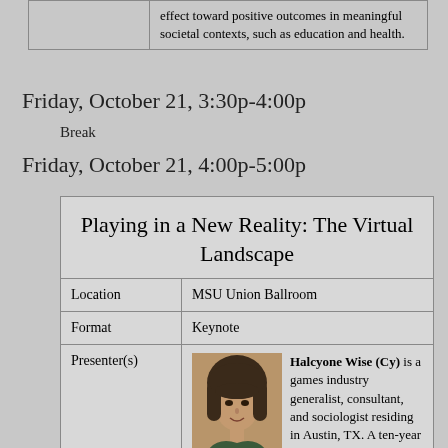|  |  |
| --- | --- |
|  | effect toward positive outcomes in meaningful societal contexts, such as education and health. |
Friday, October 21, 3:30p-4:00p
Break
Friday, October 21, 4:00p-5:00p
| Playing in a New Reality: The Virtual Landscape |
| --- |
| Location | MSU Union Ballroom |
| Format | Keynote |
| Presenter(s) | Halcyone Wise (Cy) is a games industry generalist, consultant, and sociologist residing in Austin, TX. A ten-year |